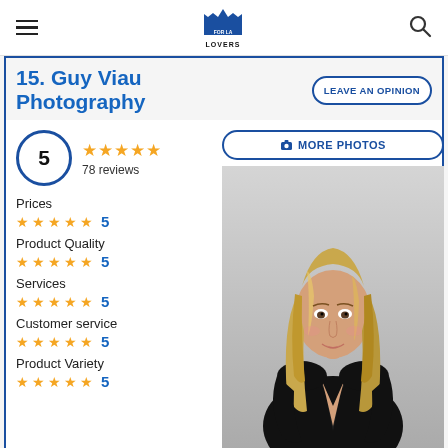FOR LA LOVERS
15. Guy Viau Photography
LEAVE AN OPINION
5 — 78 reviews
MORE PHOTOS
Prices — 5 stars — 5
Product Quality — 5 stars — 5
Services — 5 stars — 5
Customer service — 5 stars — 5
Product Variety — 5 stars — 5
[Figure (photo): Portrait photo of a blonde woman wearing a black satin jacket]